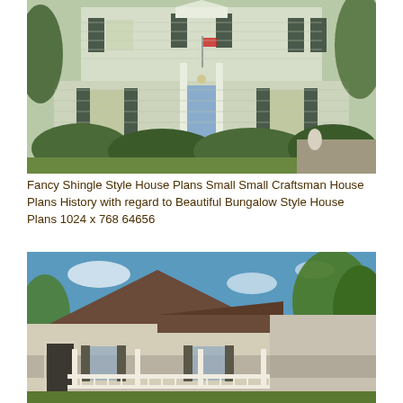[Figure (photo): A two-story colonial style house with gray-green siding, dark shutters, a blue front door, American flag, and lush green shrubs in the foreground.]
Fancy Shingle Style House Plans Small Small Craftsman House Plans History with regard to Beautiful Bungalow Style House Plans 1024 x 768 64656
[Figure (photo): A 3D architectural rendering of a small bungalow-style house with a brown roof, beige siding, white porch railing, and surrounding trees and blue sky.]